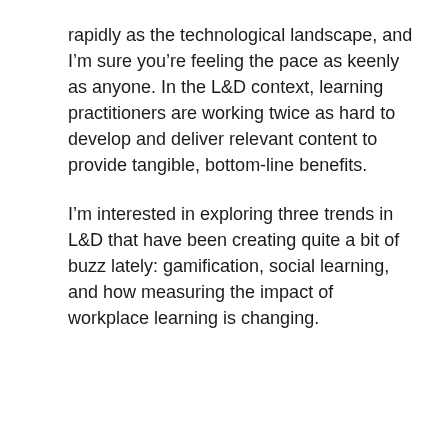rapidly as the technological landscape, and I'm sure you're feeling the pace as keenly as anyone. In the L&D context, learning practitioners are working twice as hard to develop and deliver relevant content to provide tangible, bottom-line benefits.
I'm interested in exploring three trends in L&D that have been creating quite a bit of buzz lately: gamification, social learning, and how measuring the impact of workplace learning is changing.